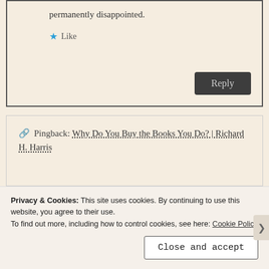permanently disappointed.
★ Like
Reply
Pingback: Why Do You Buy the Books You Do? | Richard H. Harris
Tara Sparling
Privacy & Cookies: This site uses cookies. By continuing to use this website, you agree to their use.
To find out more, including how to control cookies, see here: Cookie Policy
Close and accept